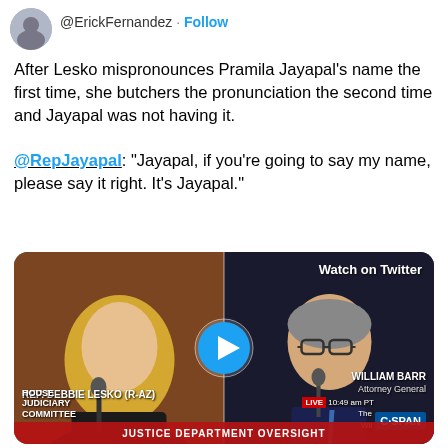[Figure (screenshot): Twitter avatar of @ErickFernandez with a Follow button]
@ErickFernandez · Follow
After Lesko mispronounces Pramila Jayapal's name the first time, she butchers the pronunciation the second time and Jayapal was not having it.

@RepJayapal: "Jayapal, if you're going to say my name, please say it right. It's Jayapal."
[Figure (screenshot): C-SPAN video thumbnail showing split screen of Rep. Debbie Lesko (R-AZ) on left and William Barr Attorney General on right, with play button overlay and 'Watch on Twitter' label. Bottom bar reads JUSTICE DEPARTMENT OVERSIGHT. House Judiciary Committee label bottom left. LIVE 10:49 am PT and C-SPAN logo visible.]